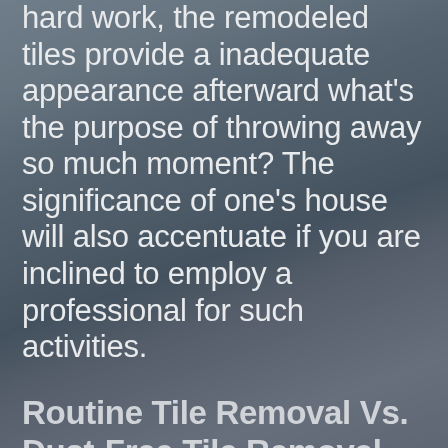hard work, the remodeled tiles provide a inadequate appearance afterward what's the purpose of throwing away so much moment? The significance of one's house will also accentuate if you are inclined to employ a professional for such activities.
Routine Tile Removal Vs. Dust-Free Tile Removal
We are all aware that small particles or dust are developed throughout the place removal practice and these samples often accumulate in the nooks of the furnishings, carpeting, or other